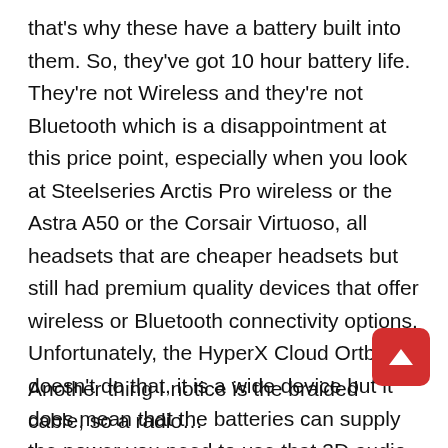that's why these have a battery built into them. So, they've got 10 hour battery life. They're not Wireless and they're not Bluetooth which is a disappointment at this price point, especially when you look at Steelseries Arctis Pro wireless or the Astra A50 or the Corsair Virtuoso, all headsets that are cheaper headsets but still had premium quality devices that offer wireless or Bluetooth connectivity options. Unfortunately, the HyperX Cloud Ortbit S doesn't do that, it is a wide device but it does mean that the batteries can supply the power you need to use that 3D audio technology when you're not on PC and you're not plugged in that way if you're using a 3.5 l jack or a device that won't be giving off enough power. So, you can use it on console or switch or your phone.
Another thing I notice is the braided cable, so a radio…